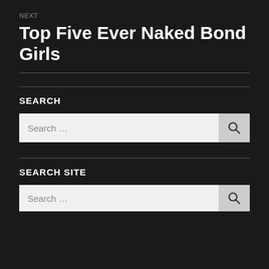NEXT
Top Five Ever Naked Bond Girls
SEARCH
Search …
SEARCH SITE
Search …